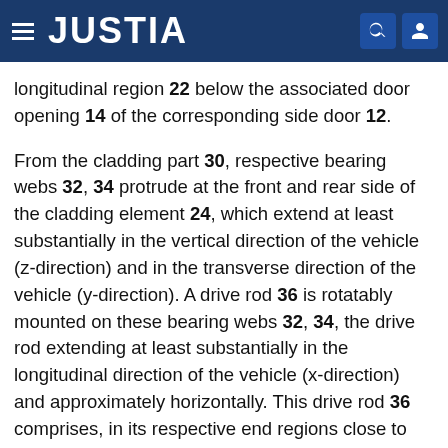JUSTIA
longitudinal region 22 below the associated door opening 14 of the corresponding side door 12.
From the cladding part 30, respective bearing webs 32, 34 protrude at the front and rear side of the cladding element 24, which extend at least substantially in the vertical direction of the vehicle (z-direction) and in the transverse direction of the vehicle (y-direction). A drive rod 36 is rotatably mounted on these bearing webs 32, 34, the drive rod extending at least substantially in the longitudinal direction of the vehicle (x-direction) and approximately horizontally. This drive rod 36 comprises, in its respective end regions close to the bearing webs 32, 34, a corresponding U-shaped crank 37, which engages with an associated, slot-shaped link 38 of a corresponding link element 40, which in turn is fastened on the inside of the cladding element 24 at its front or